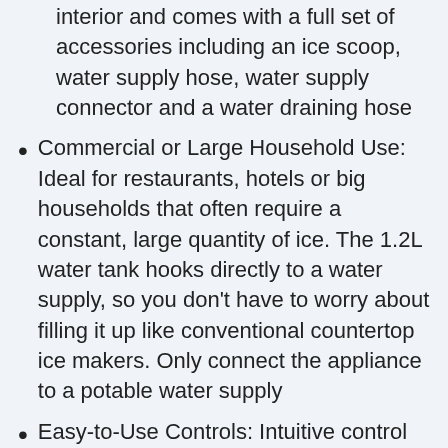interior and comes with a full set of accessories including an ice scoop, water supply hose, water supply connector and a water draining hose
Commercial or Large Household Use: Ideal for restaurants, hotels or big households that often require a constant, large quantity of ice. The 1.2L water tank hooks directly to a water supply, so you don't have to worry about filling it up like conventional countertop ice makers. Only connect the appliance to a potable water supply
Easy-to-Use Controls: Intuitive control panel has LCD indicator for displaying water and ice making functions. The ice making time and thickness of the ice cubes can be adjusted by pressing the (+) or (-) buttons. Also equipped